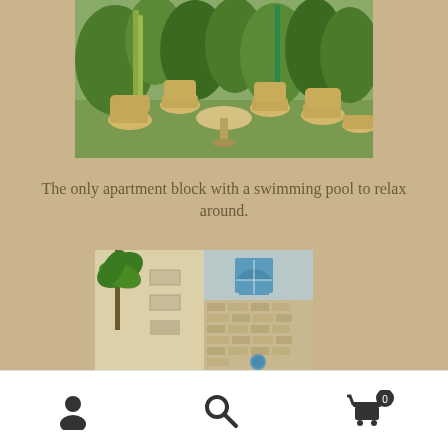[Figure (photo): Outdoor garden/patio area with wicker chairs and a round table surrounded by lush green trees and plants]
The only apartment block with a swimming pool to relax around.
[Figure (photo): Exterior view of an apartment building with stone facade and blue arched window, palm trees visible on left side]
Navigation icons: user profile, search, shopping cart (0)